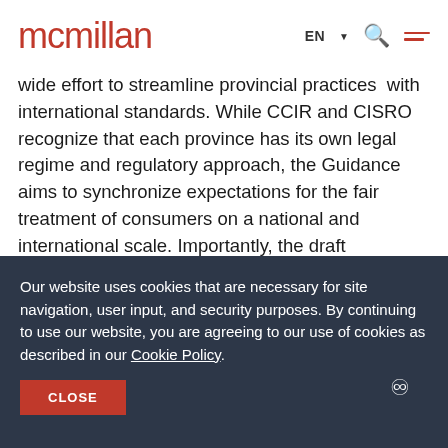[Figure (logo): McMillan law firm logo in red text]
wide effort to streamline provincial practices with international standards. While CCIR and CISRO recognize that each province has its own legal regime and regulatory approach, the Guidance aims to synchronize expectations for the fair treatment of consumers on a national and international scale. Importantly, the draft recommendations remain broad enough to allow for the implementation of
Our website uses cookies that are necessary for site navigation, user input, and security purposes. By continuing to use our website, you are agreeing to our use of cookies as described in our Cookie Policy.
CLOSE